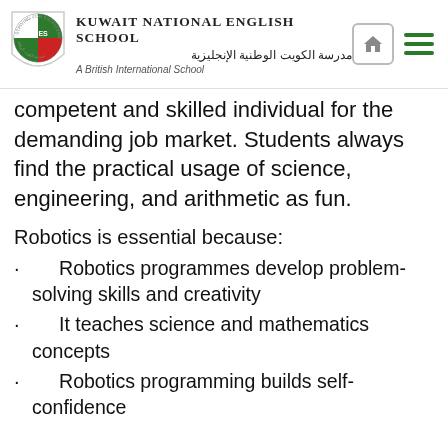Kuwait National English School | مدرسة الكويت الوطنية الإنجليزية | A British International School
competent and skilled individual for the demanding job market. Students always find the practical usage of science, engineering, and arithmetic as fun.
Robotics is essential because:
Robotics programmes develop problem-solving skills and creativity
It teaches science and mathematics concepts
Robotics programming builds self-confidence